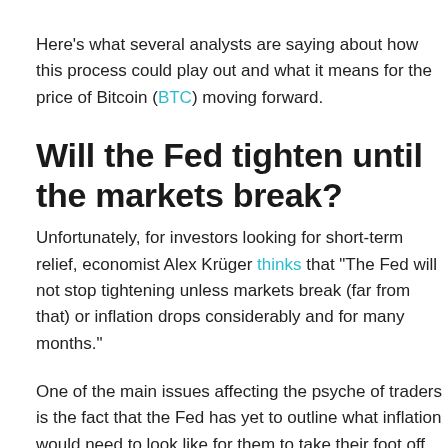Here's what several analysts are saying about how this process could play out and what it means for the price of Bitcoin (BTC) moving forward.
Will the Fed tighten until the markets break?
Unfortunately, for investors looking for short-term relief, economist Alex Krüger thinks that “The Fed will not stop tightening unless markets break (far from that) or inflation drops considerably and for many months.”
One of the main issues affecting the psyche of traders is the fact that the Fed has yet to outline what inflation would need to look like for them to take their foot off the rate hike gas pedal. Instead, it simply reiterates its goal “to see clear and convincing evidence inflation is coming down